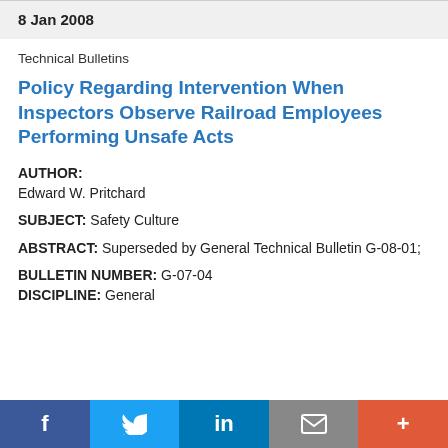8 Jan 2008
Technical Bulletins
Policy Regarding Intervention When Inspectors Observe Railroad Employees Performing Unsafe Acts
AUTHOR: Edward W. Pritchard
SUBJECT: Safety Culture
ABSTRACT: Superseded by General Technical Bulletin G-08-01;
BULLETIN NUMBER: G-07-04
DISCIPLINE: General
[Figure (infographic): Social sharing footer bar with buttons: Facebook (f), Twitter (bird icon), LinkedIn (in), Email (envelope), More (+)]